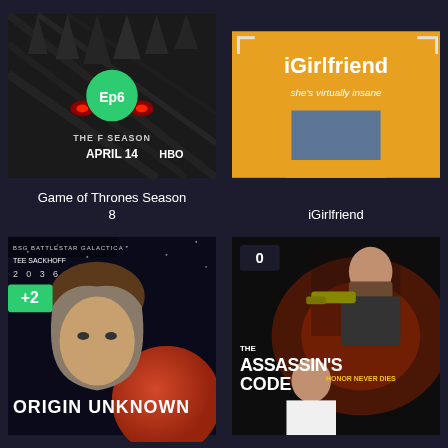[Figure (screenshot): Movie poster for Game of Thrones Season 8 with iron throne background, text 'THE FINAL SEASON APRIL 14 HBO', green circular badge showing 'Ep6']
Game of Thrones Season 8
[Figure (screenshot): Movie poster for iGirlfriend with orange background showing a woman in denim shorts, text 'iGirlfriend she's virtually insane']
iGirlfriend
[Figure (screenshot): Movie poster for 2036 Origin Unknown featuring a woman's face and planet, text 'ORIGIN UNKNOWN' with green '+2' badge]
[Figure (screenshot): Movie poster for The Assassin's Code showing two men, text 'THE ASSASSIN'S CODE HONOR NEVER DIES' with '0' badge]